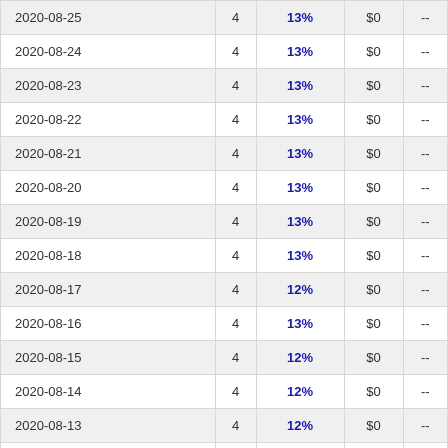| Date |  | % | $ |  |
| --- | --- | --- | --- | --- |
| 2020-08-25 | 4 | 13% | $0 | -- |
| 2020-08-24 | 4 | 13% | $0 | -- |
| 2020-08-23 | 4 | 13% | $0 | -- |
| 2020-08-22 | 4 | 13% | $0 | -- |
| 2020-08-21 | 4 | 13% | $0 | -- |
| 2020-08-20 | 4 | 13% | $0 | -- |
| 2020-08-19 | 4 | 13% | $0 | -- |
| 2020-08-18 | 4 | 13% | $0 | -- |
| 2020-08-17 | 4 | 12% | $0 | -- |
| 2020-08-16 | 4 | 13% | $0 | -- |
| 2020-08-15 | 4 | 12% | $0 | -- |
| 2020-08-14 | 4 | 12% | $0 | -- |
| 2020-08-13 | 4 | 12% | $0 | -- |
| 2020-08-12 | 4 | 12% | $0 | -- |
| 2020-08-11 | 4 | 12% | $0 | -- |
| 2020-08-10 | 4 | 12% | $0 | -- |